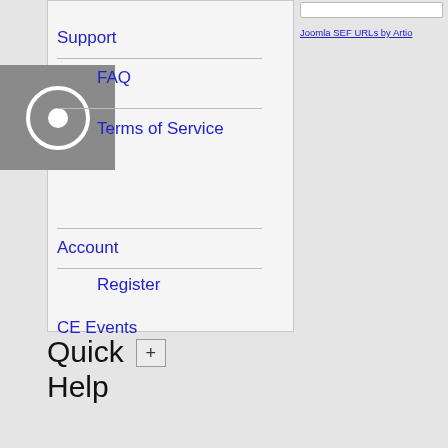Support
FAQ
Terms of Service
Account
Register
CE Events
Joomla SEF URLs by Artio
Quick Help